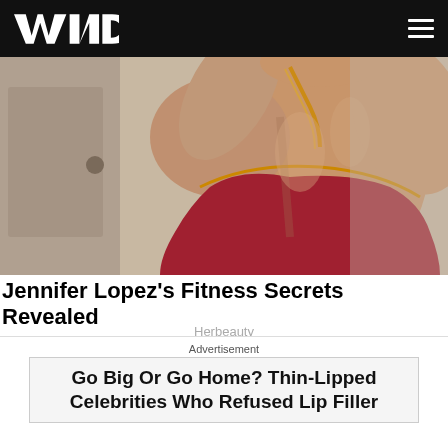WND
[Figure (photo): A person in a red backless outfit posing with arms raised, showing muscular back, taken in a mirror selfie]
Jennifer Lopez's Fitness Secrets Revealed
Herbeauty
Advertisement
Go Big Or Go Home? Thin-Lipped Celebrities Who Refused Lip Filler